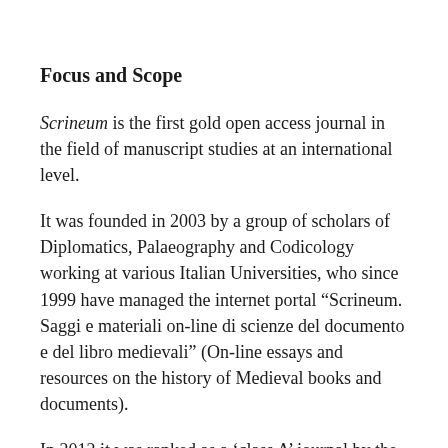Focus and Scope
Scrineum is the first gold open access journal in the field of manuscript studies at an international level.
It was founded in 2003 by a group of scholars of Diplomatics, Palaeography and Codicology working at various Italian Universities, who since 1999 have managed the internet portal “Scrineum. Saggi e materiali on-line di scienze del documento e del libro medievali” (On-line essays and resources on the history of Medieval books and documents).
In 2012 it was ranked as a ‘class A’ journal by the Italian National Agency for the Evaluation of Research and Universities (ANVUR).